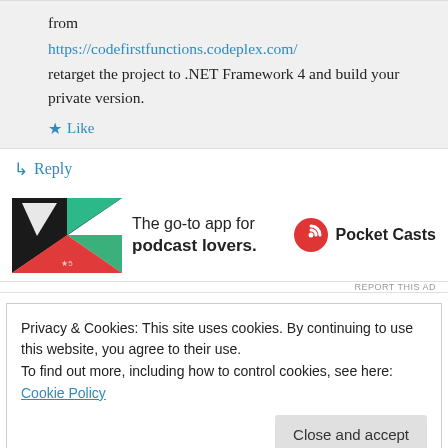from
https://codefirstfunctions.codeplex.com/
retarget the project to .NET Framework 4 and build your private version.
★ Like
↳ Reply
[Figure (infographic): Pocket Casts advertisement: colorful app icon on left, text 'The go-to app for podcast lovers.' in center, Pocket Casts logo and name on right]
REPORT THIS AD
Privacy & Cookies: This site uses cookies. By continuing to use this website, you agree to their use.
To find out more, including how to control cookies, see here: Cookie Policy
Close and accept
A first chance exception of type